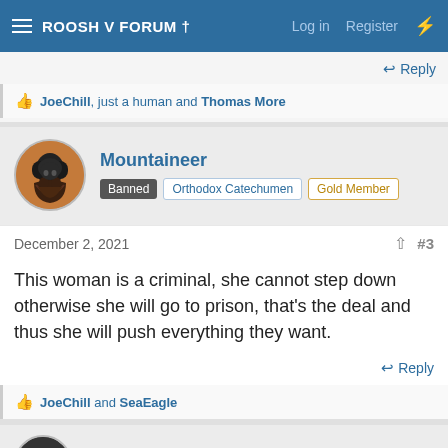ROOSH V FORUM †  Log in  Register
Reply
👍 JoeChill, just a human and Thomas More
Mountaineer  Banned  Orthodox Catechumen  Gold Member
December 2, 2021  #3
This woman is a criminal, she cannot step down otherwise she will go to prison, that's the deal and thus she will push everything they want.
Reply
👍 JoeChill and SeaEagle
Viktor Zeegelaar